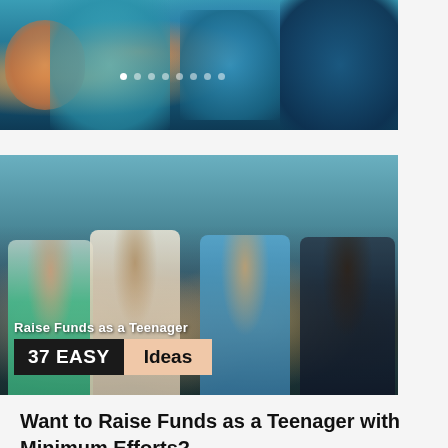[Figure (photo): Top banner image showing people, cropped — used as a slideshow strip with navigation dots]
[Figure (photo): Main article image showing four teenage boys sitting outside a storefront, with overlaid text 'Raise Funds as a Teenager' and '37 EASY Ideas' banner]
Want to Raise Funds as a Teenager with Minimum Efforts?